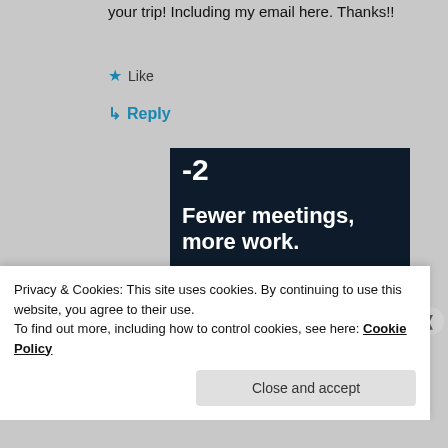your trip! Including my email here. Thanks!!
★ Like
↳ Reply
[Figure (screenshot): Dark advertisement banner with text '-2' at top, headline 'Fewer meetings, more work.' and a 'Get started for free' button with rounded border]
Privacy & Cookies: This site uses cookies. By continuing to use this website, you agree to their use.
To find out more, including how to control cookies, see here: Cookie Policy
Close and accept